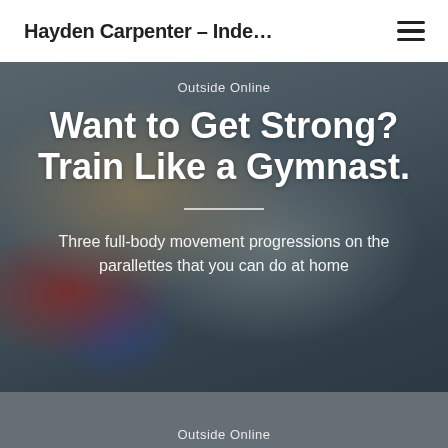Hayden Carpenter – Inde...
Outside Online
Want to Get Strong? Train Like a Gymnast.
Three full-body movement progressions on the parallettes that you can do at home
Outside Online